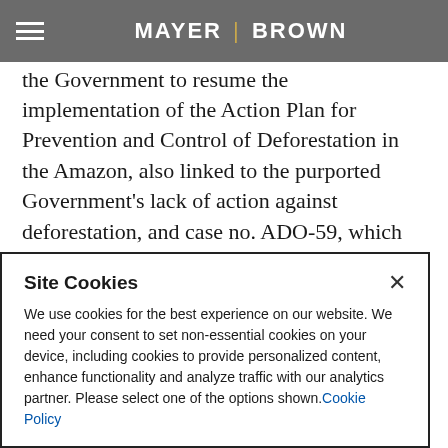MAYER | BROWN
The highlights for the trial session mainly include case no. ADPF-760, which requires the Government to resume the implementation of the Action Plan for Prevention and Control of Deforestation in the Amazon, also linked to the purported Government's lack of action against deforestation, and case no. ADO-59, which seeks to reactivate the Amazon Fund – a financial reserve that receives donations for investments in actions of preventing, monitoring and combating deforestation, while promoting the environmentally responsible use of the Amazon Forest resources. Case no. ADI-6148 is also worth mentioning,
Site Cookies
We use cookies for the best experience on our website. We need your consent to set non-essential cookies on your device, including cookies to provide personalized content, enhance functionality and analyze traffic with our analytics partner. Please select one of the options shown. Cookie Policy